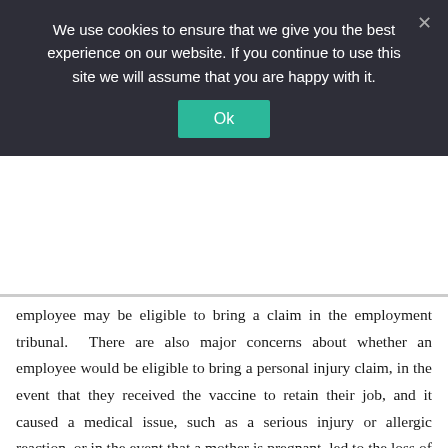We use cookies to ensure that we give you the best experience on our website. If you continue to use this site we will assume that you are happy with it.
Ok
employee may be eligible to bring a claim in the employment tribunal. There are also major concerns about whether an employee would be eligible to bring a personal injury claim, in the event that they received the vaccine to retain their job, and it caused a medical issue, such as a serious injury or allergic reaction, or in the event that a mother is pregnant, led to the loss of a baby. In either circumstance, would the employer be held liable?
If such legislation were to be introduced, and an employee were to object to mandatory vaccination under one of the protected characteristics noted